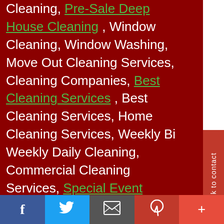Cleaning, Pre-Sale Deep House Cleaning , Window Cleaning, Window Washing, Move Out Cleaning Services, Cleaning Companies, Best Cleaning Services , Best Cleaning Services, Home Cleaning Services, Weekly Bi Weekly Daily Cleaning, Commercial Cleaning Services, Special Event Cleaning Services , Deep House Cleaning, Hoarder House Cleaning, Janitor Services, Cleaning Contractor, Floor Cleaning, Restaurant Cleaning , Services, Window Cleaning Services, Junk Removal, Junk Pick Up, House Clean Out Services , Estate Clean Out , Garage Clean Out Services, Property Maintenance...
Click to contact
f  [Twitter]  [Email]  p  +